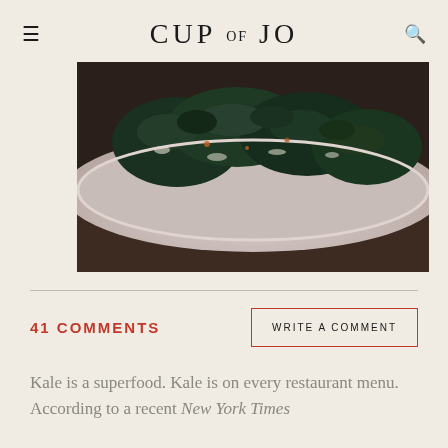CUP OF JO
[Figure (photo): Close-up photo of kale salad on a white plate, with dark green kale leaves dressed and sitting in a bowl, on a dark wooden surface]
41 COMMENTS
WRITE A COMMENT
Kale is a superfood. Kale is on every restaurant menu. According to a recent New York Times